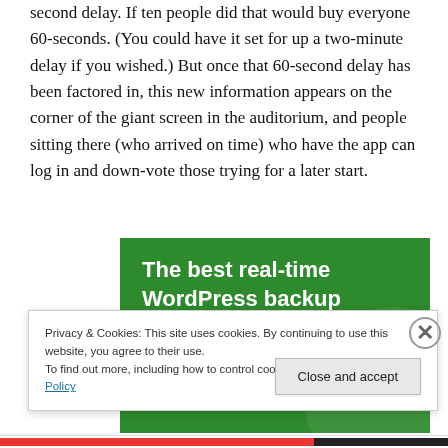second delay. If ten people did that would buy everyone 60-seconds. (You could have it set for up a two-minute delay if you wished.) But once that 60-second delay has been factored in, this new information appears on the corner of the giant screen in the auditorium, and people sitting there (who arrived on time) who have the app can log in and down-vote those trying for a later start.
[Figure (other): Green advertisement banner with bold white text reading 'The best real-time WordPress backup plugin']
Privacy & Cookies: This site uses cookies. By continuing to use this website, you agree to their use.
To find out more, including how to control cookies, see here: Cookie Policy